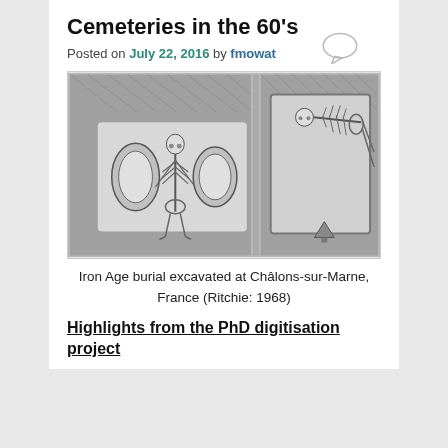Cemeteries in the 60's
Posted on July 22, 2016 by fmowat
[Figure (illustration): Black and white sketch/illustration showing Iron Age burial scenes at Châlons-sur-Marne. Left panel shows a skeleton standing upright with round shield-like objects on either side. Right panel shows a skeleton laid in a burial position within a rectangular frame.]
Iron Age burial excavated at Châlons-sur-Marne, France (Ritchie: 1968)
Highlights from the PhD digitisation project